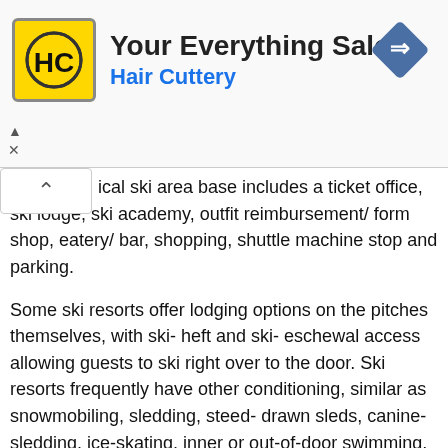[Figure (logo): Hair Cuttery advertisement banner with HC logo in yellow square, 'Your Everything Salon' heading, 'Hair Cuttery' subtitle in blue, and a blue diamond navigation arrow icon]
ical ski area base includes a ticket office, ski lodge, ski academy, outfit reimbursement/ form shop, eatery/ bar, shopping, shuttle machine stop and parking.

Some ski resorts offer lodging options on the pitches themselves, with ski- heft and ski- eschewal access allowing guests to ski right over to the door. Ski resorts frequently have other conditioning, similar as snowmobiling, sledding, steed- drawn sleds, canine-sledding, ice-skating, inner or out-of-door swimming, and hot tubbing, game apartments, and original forms of entertainment, similar as clubs, cinema, theaters and roadhouses. Après-ski (French after skiing) is a term for entertainment, escapism or social events that do specifically at ski resorts. These add to the enjoyment of resort- goers and give commodity to do besides skiing and snowboarding. The culture began in the Mounts, where it's most popular and where skiers frequently stop at bars on their last run of the day. Although après-ski is ski related,